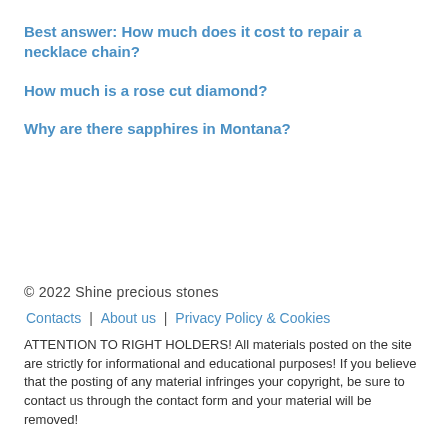Best answer: How much does it cost to repair a necklace chain?
How much is a rose cut diamond?
Why are there sapphires in Montana?
© 2022 Shine precious stones
Contacts | About us | Privacy Policy & Cookies
ATTENTION TO RIGHT HOLDERS! All materials posted on the site are strictly for informational and educational purposes! If you believe that the posting of any material infringes your copyright, be sure to contact us through the contact form and your material will be removed!